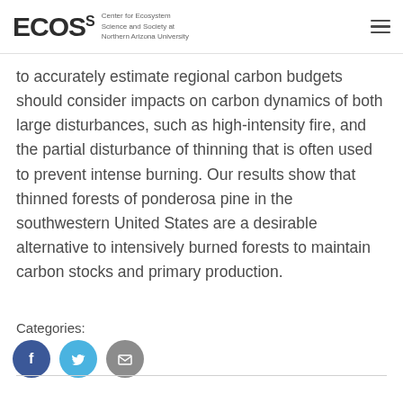ECOS Center for Ecosystem Science and Society at Northern Arizona University
to accurately estimate regional carbon budgets should consider impacts on carbon dynamics of both large disturbances, such as high-intensity fire, and the partial disturbance of thinning that is often used to prevent intense burning. Our results show that thinned forests of ponderosa pine in the southwestern United States are a desirable alternative to intensively burned forests to maintain carbon stocks and primary production.
Categories:
[Figure (other): Social media sharing icons: Facebook (dark blue circle with f), Twitter (light blue circle with bird), Email (grey circle with envelope)]